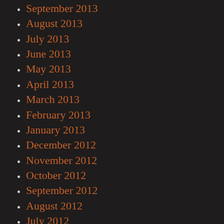September 2013
August 2013
July 2013
June 2013
May 2013
April 2013
March 2013
February 2013
January 2013
December 2012
November 2012
October 2012
September 2012
August 2012
July 2012
June 2012